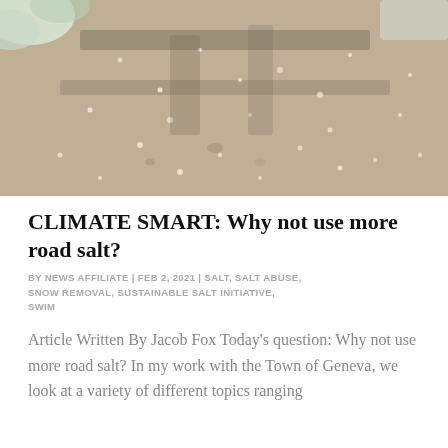[Figure (photo): Close-up photo of a concrete or paved surface with road salt/ice melt granules scattered across it. Snow is visible in the upper left corner. The surface appears grayish-brown with salt crystals giving a speckled texture.]
CLIMATE SMART: Why not use more road salt?
BY NEWS AFFILIATE | FEB 2, 2021 | SALT, SALT ABUSE, SNOW REMOVAL, SUSTAINABLE SALT INITIATIVE, SWIM
Article Written By Jacob Fox Today's question: Why not use more road salt? In my work with the Town of Geneva, we look at a variety of different topics ranging